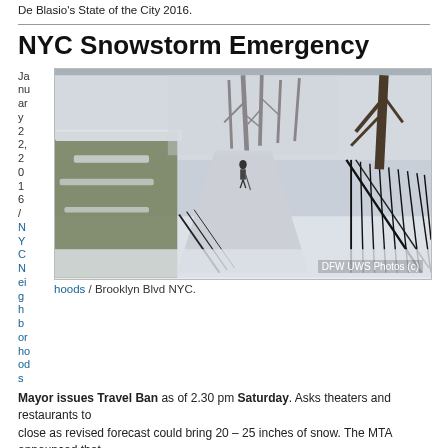De Blasio's State of the City 2016.
NYC Snowstorm Emergency
January 22, 2016 / NYC Neighborhoods / Brooklyn Blvd NYC.
[Figure (photo): Snow-covered path in a park with bare trees and a fence on the right side, a person walking in the distance. Caption: DFW UWS Photos (c)]
/ Brooklyn Blvd NYC.
Mayor issues Travel Ban as of 2.30 pm Saturday. Asks theaters and restaurants to close as revised forecast could bring 20 – 25 inches of snow. The MTA announced that